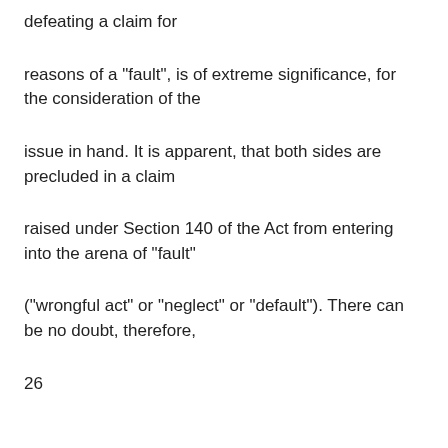defeating a claim for
reasons of a "fault", is of extreme significance, for the consideration of the
issue in hand. It is apparent, that both sides are precluded in a claim
raised under Section 140 of the Act from entering into the arena of "fault"
("wrongful act" or "neglect" or "default"). There can be no doubt, therefore,
26